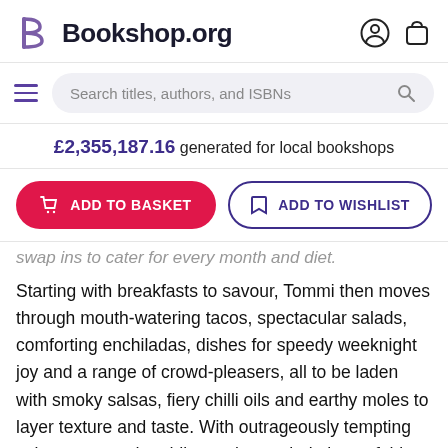Bookshop.org
Search titles, authors, and ISBNs
£2,355,187.16 generated for local bookshops
ADD TO BASKET
ADD TO WISHLIST
swap ins to cater for every month and diet.
Starting with breakfasts to savour, Tommi then moves through mouth-watering tacos, spectacular salads, comforting enchiladas, dishes for speedy weeknight joy and a range of crowd-pleasers, all to be laden with smoky salsas, fiery chilli oils and earthy moles to layer texture and taste. With outrageously tempting cakes, tarts and puddings, plus a whole host of thirst-quenching drinks to see you from first light to sundown, there's something for